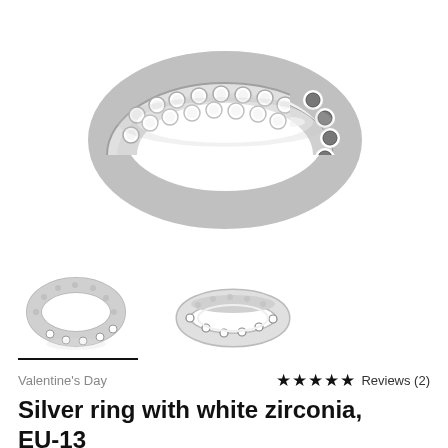[Figure (photo): Close-up photo of a silver eternity ring with white zirconia stones, shown from above with a reflection below. Ring has two rows of pave-set round stones on top and circular cutouts visible on the inner band.]
[Figure (photo): Two thumbnail images of the same silver zirconia eternity ring shown from different angles - front view and side/angled view.]
Valentine's Day
★★★★★ Reviews (2)
Silver ring with white zirconia, EU-13